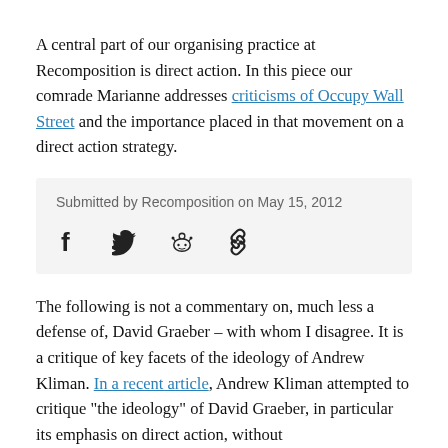A central part of our organising practice at Recomposition is direct action. In this piece our comrade Marianne addresses criticisms of Occupy Wall Street and the importance placed in that movement on a direct action strategy.
Submitted by Recomposition on May 15, 2012
[Figure (other): Social share icons: Facebook, Twitter, Reddit, and Link]
The following is not a commentary on, much less a defense of, David Graeber – with whom I disagree. It is a critique of key facets of the ideology of Andrew Kliman. In a recent article, Andrew Kliman attempted to critique "the ideology" of David Graeber, in particular its emphasis on direct action, without